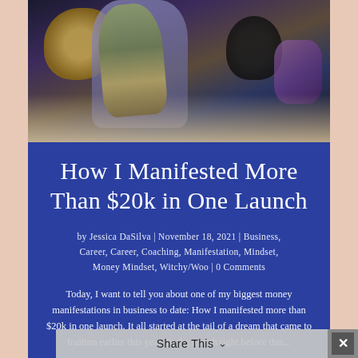[Figure (photo): Dark flat-lay photo showing decorative golden lace item, dried lavender bouquet, black velvet pouch, and purple crystals arranged on a light surface]
How I Manifested More Than $20k in One Launch
by Jessica DaSilva | November 18, 2021 | Business, Career, Career, Coaching, Manifestation, Mindset, Money Mindset, Witchy/Woo | 0 Comments
Today, I want to tell you about one of my biggest money manifestations in business to date: How I manifested more than $20k in one launch. It all started at the tail of a dream that came to fruition earlier this year. In the month right before this...